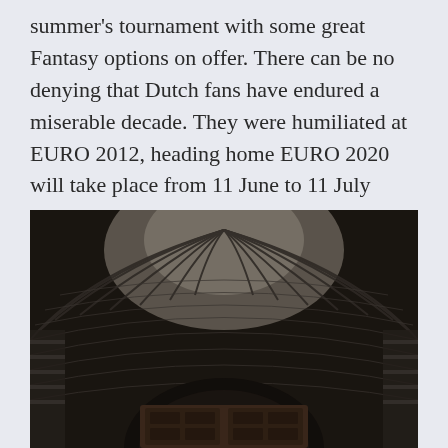summer's tournament with some great Fantasy options on offer. There can be no denying that Dutch fans have endured a miserable decade. They were humiliated at EURO 2012, heading home EURO 2020 will take place from 11 June to 11 July 2021.
[Figure (photo): Interior view of a large iron-and-glass arched train station roof structure, photographed from below looking up. The image is in black and white / sepia tones, showing radiating steel ribs of the vaulted ceiling and a dark archway at the bottom with ornate wooden cabinetry.]